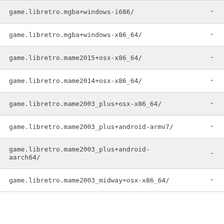| name | value |
| --- | --- |
| game.libretro.mgba+windows-i686/ | - |
| game.libretro.mgba+windows-x86_64/ | - |
| game.libretro.mame2015+osx-x86_64/ | - |
| game.libretro.mame2014+osx-x86_64/ | - |
| game.libretro.mame2003_plus+osx-x86_64/ | - |
| game.libretro.mame2003_plus+android-armv7/ | - |
| game.libretro.mame2003_plus+android-aarch64/ | - |
| game.libretro.mame2003_midway+osx-x86_64/ | - |